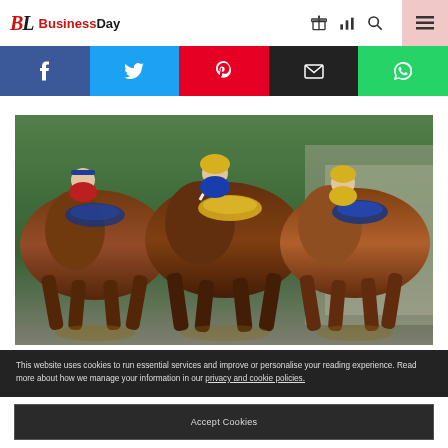BL BusinessDay
[Figure (other): Social sharing bar with Facebook, Twitter, Pinterest, Email, and WhatsApp buttons]
[Figure (photo): Close-up photo of horse race showing multiple horses with jockeys in colorful silks racing neck-and-neck on a track]
This website uses cookies to run essential services and improve or personalise your reading experience. Read more about how we manage your information in our privacy and cookie policies.
Accept Cookies